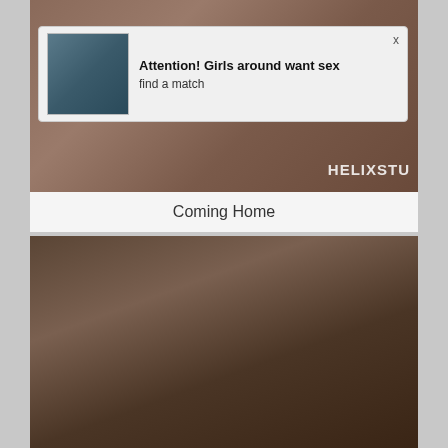[Figure (screenshot): Video thumbnail showing adult content with HELIXSTU watermark]
Attention! Girls around want sex
find a match
Coming Home
[Figure (screenshot): Second video thumbnail showing adult content]